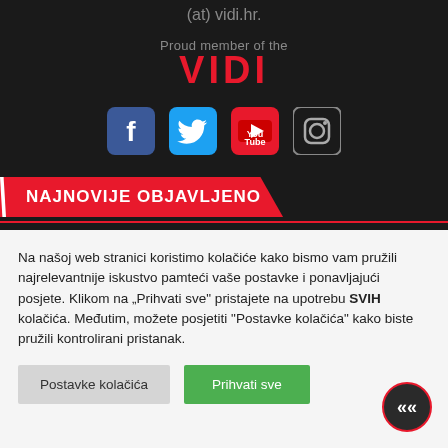(at) vidi.hr.
Proud member of the
VIDI
[Figure (illustration): Social media icons: Facebook, Twitter, YouTube, Instagram]
NAJNOVIJE OBJAVLJENO
Na našoj web stranici koristimo kolačiće kako bismo vam pružili najrelevantnije iskustvo pamteći vaše postavke i ponavljajući posjete. Klikom na „Prihvati sve" pristajete na upotrebu SVIH kolačića. Međutim, možete posjetiti "Postavke kolačića" kako biste pružili kontrolirani pristanak.
Postavke kolačića | Prihvati sve